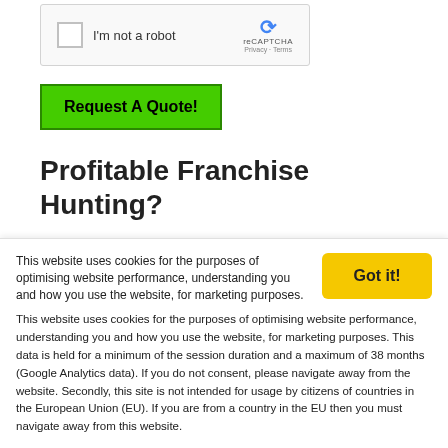[Figure (other): reCAPTCHA widget with checkbox labeled 'I'm not a robot']
Request A Quote!
Profitable Franchise Hunting?
Royal Restroom has franchising opportunities in most of the USA, so reach out to us to discuss your needs.
Call Us Now
Request A Quote Now
Alabama 334.430.3313
This website uses cookies for the purposes of optimising website performance, understanding you and how you use the website, for marketing purposes. This data is held for a minimum of the session duration and a maximum of 38 months (Google Analytics data). If you do not consent, please navigate away from the website. Secondly, this site is not intended for usage by citizens of countries in the European Union (EU). If you are from a country in the EU then you must navigate away from this website.